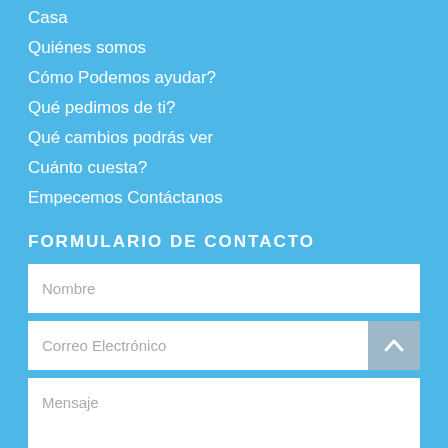Casa
Quiénes somos
Cómo Podemos ayudar?
Qué pedimos de ti?
Qué cambios podrás ver
Cuánto cuesta?
Empecemos Contáctanos
FORMULARIO DE CONTACTO
Nombre
Correo Electrónico
Mensaje